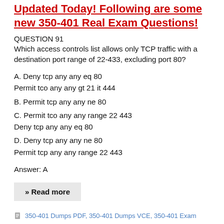Updated Today! Following are some new 350-401 Real Exam Questions!
QUESTION 91
Which access controls list allows only TCP traffic with a destination port range of 22-433, excluding port 80?
A. Deny tcp any any eq 80
Permit tco any any gt 21 it 444
B. Permit tcp any any ne 80
C. Permit tco any any range 22 443
Deny tcp any any eq 80
D. Deny tcp any any ne 80
Permit tcp any any range 22 443
Answer: A
» Read more
350-401 Dumps PDF, 350-401 Dumps VCE, 350-401 Exam